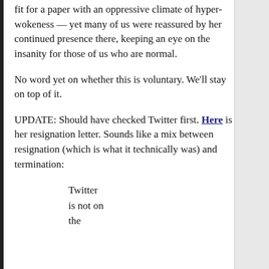fit for a paper with an oppressive climate of hyper-wokeness — yet many of us were reassured by her continued presence there, keeping an eye on the insanity for those of us who are normal.
No word yet on whether this is voluntary. We'll stay on top of it.
UPDATE: Should have checked Twitter first. Here is her resignation letter. Sounds like a mix between resignation (which is what it technically was) and termination:
Twitter is not on the